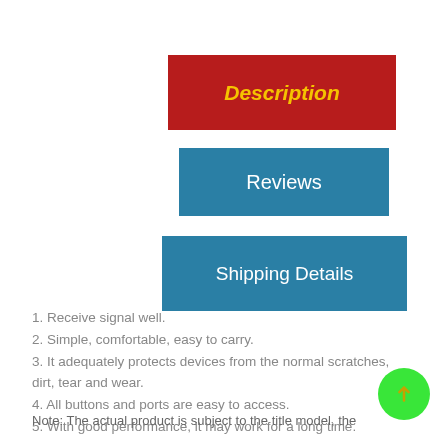[Figure (screenshot): Red button labeled 'Description' in yellow italic text]
[Figure (screenshot): Teal/blue button labeled 'Reviews' in white text]
[Figure (screenshot): Teal/blue button labeled 'Shipping Details' in white text]
1. Receive signal well.
2. Simple, comfortable, easy to carry.
3. It adequately protects devices from the normal scratches, dirt, tear and wear.
4. All buttons and ports are easy to access.
5. With good performance, it may work for a long time.
Note: The actual product is subject to the title model, the